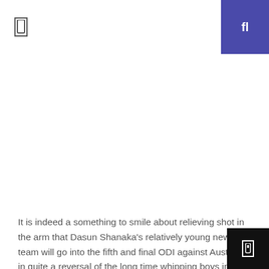navigation header with menu and search icons
[Figure (photo): Large image placeholder area, white/blank]
It is indeed a something to smile about relieving shot in the arm that Dasun Shanaka's relatively young new look team will go into the fifth and final ODI against Australia in quite a reversal of the long time whipping boys image that had bugged Sri Lankan cricket in tonight's day-night at the R. Premadasa International Stadium.
In that perspective, it will be a comfort zone the Lankans